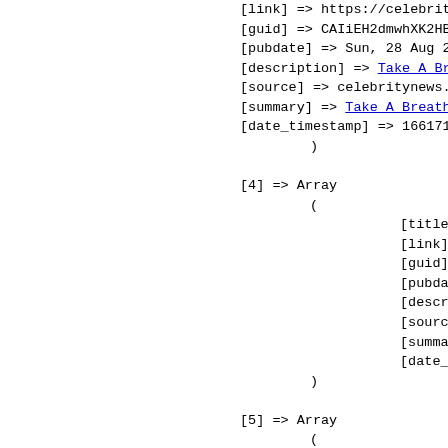PHP array dump showing RSS feed entries [4] and [5] with fields: link, guid, pubdate, description, source, summary, date_timestamp, title